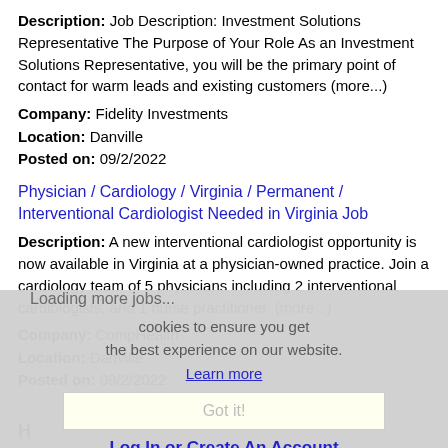Description: Job Description: Investment Solutions Representative The Purpose of Your Role As an Investment Solutions Representative, you will be the primary point of contact for warm leads and existing customers (more...)
Company: Fidelity Investments
Location: Danville
Posted on: 09/2/2022
Physician / Cardiology / Virginia / Permanent / Interventional Cardiologist Needed in Virginia Job
Description: A new interventional cardiologist opportunity is now available in Virginia at a physician-owned practice. Join a cardiology team of 5 physicians including 2 interventional cardiologists, and 1 nurse practitioner. (more...)
Company: CompHealth
Location: Danville
Posted on: 09/2/2022
Loading more jobs...
cookies to ensure you get the best experience on our website.
Learn more
Got it!
Log In or Create An Account